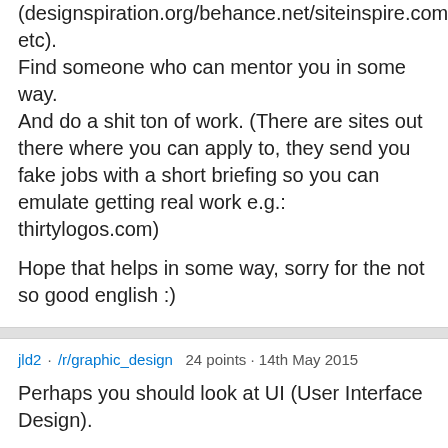(designspiration.org/behance.net/siteinspire.com etc).
Find someone who can mentor you in some way.
And do a shit ton of work. (There are sites out there where you can apply to, they send you fake jobs with a short briefing so you can emulate getting real work e.g.: thirtylogos.com)
Hope that helps in some way, sorry for the not so good english :)
jld2 · /r/graphic_design   24 points · 14th May 2015
Perhaps you should look at UI (User Interface Design).
"User interface design (UID) or user interface engineering is the design of user interfaces for machines and software, such as computers, home appliances, mobile devices, and other electronic devices, with the focus on maximizing the user